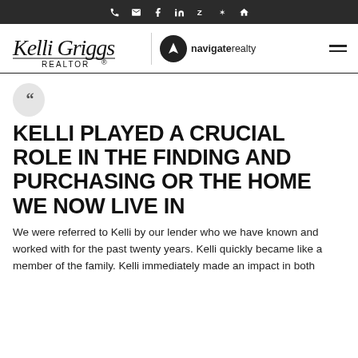Social media icon bar: phone, email, facebook, linkedin, zillow, yelp, home
[Figure (logo): Kelli Griggs REALTOR logo and Navigate Realty logo with navigation arrow icon]
““
KELLI PLAYED A CRUCIAL ROLE IN THE FINDING AND PURCHASING OR THE HOME WE NOW LIVE IN
We were referred to Kelli by our lender who we have known and worked with for the past twenty years. Kelli quickly became like a member of the family. Kelli immediately made an impact in both